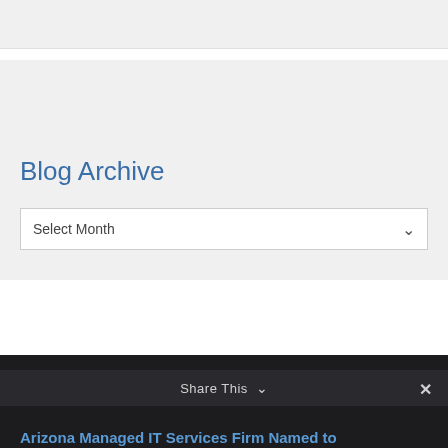Blog Archive
Select Month
Latest News & Events
Share This
Arizona Managed IT Services Firm Named to